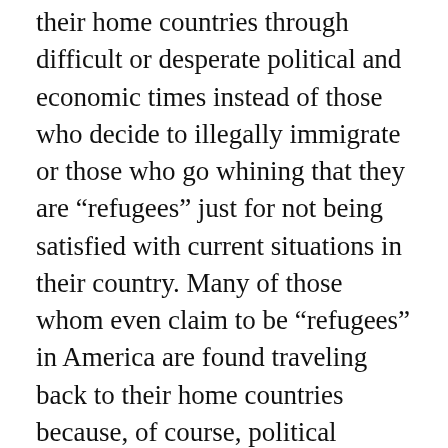their home countries through difficult or desperate political and economic times instead of those who decide to illegally immigrate or those who go whining that they are “refugees” just for not being satisfied with current situations in their country. Many of those whom even claim to be “refugees” in America are found traveling back to their home countries because, of course, political situations change all the time.
Michelle Kunert